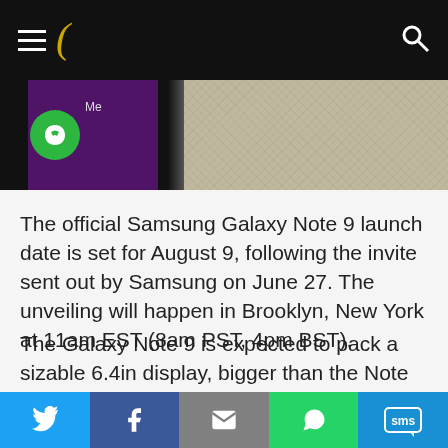Coolsmartphone navigation bar
[Figure (photo): Partial view of a smartphone screen showing a green icon and purple background, next to a textured leather surface]
The official Samsung Galaxy Note 9 launch date is set for August 9, following the invite sent out by Samsung on June 27. The unveiling will happen in Brooklyn, New York at 11am EST (8am PST, 4pm BST).
The Galaxy Note 9 is expected to pack a sizable 6.4in display, bigger than the Note 8's 6.32in offering. According to some reports, the device will come with a horizontal dual-camera setup and a fingerprint scanner beneath the camera system
Twitter | Facebook | Email | WhatsApp | SMS